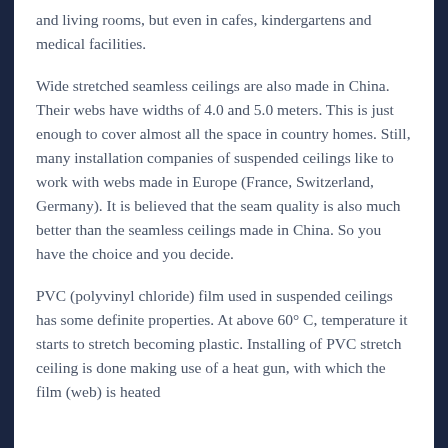and living rooms, but even in cafes, kindergartens and medical facilities.
Wide stretched seamless ceilings are also made in China. Their webs have widths of 4.0 and 5.0 meters. This is just enough to cover almost all the space in country homes. Still, many installation companies of suspended ceilings like to work with webs made in Europe (France, Switzerland, Germany). It is believed that the seam quality is also much better than the seamless ceilings made in China. So you have the choice and you decide.
PVC (polyvinyl chloride) film used in suspended ceilings has some definite properties. At above 60° C, temperature it starts to stretch becoming plastic. Installing of PVC stretch ceiling is done making use of a heat gun, with which the film (web) is heated